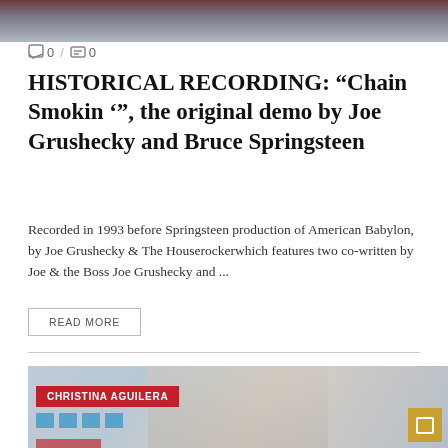[Figure (photo): Top portion of a photo showing two people, cropped at the top of the page]
0 / 0
HISTORICAL RECORDING: “Chain Smokin ’”, the original demo by Joe Grushecky and Bruce Springsteen
Recorded in 1993 before Springsteen production of American Babylon, by Joe Grushecky & The Houserockerwhich features two co-written by Joe & the Boss Joe Grushecky and ...
READ MORE
[Figure (photo): Photo of a woman (Christina Aguilera) singing into a microphone on stage, with blue squares and red elements visible in the background. A red label reads CHRISTINA AGUILERA and a gold/yellow icon appears in the bottom right corner.]